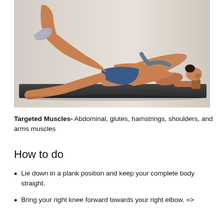[Figure (photo): A woman in a plank position on a yoga mat, wearing blue athletic shorts and a grey sports bra, with one leg raised and extended outward, demonstrating a core exercise. She is supporting herself on her forearms.]
Targeted Muscles- Abdominal, glutes, hamstrings, shoulders, and arms muscles
How to do
Lie down in a plank position and keep your complete body straight.
Bring your right knee forward towards your right elbow. =>